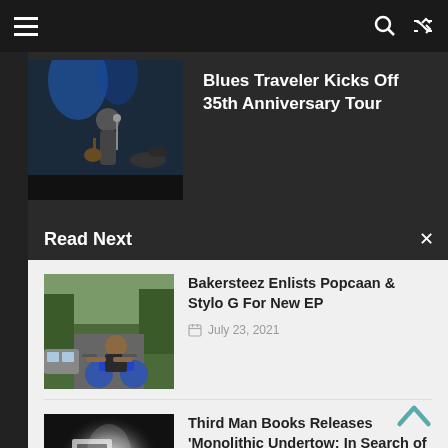Navigation bar with hamburger menu, search icon, and shuffle icon
[Figure (photo): Featured article: Blues Traveler musician performing on stage with blue stage lighting]
Blues Traveler Kicks Off 35th Anniversary Tour
Read Next
[Figure (photo): Bakersteez article thumbnail: person sitting on blue motorcycle viewed from behind]
Bakersteez Enlists Popcaan & Stylo G For New EP
July 23, 2021
[Figure (photo): Third Man Books article thumbnail: dark silhouette figure with bright backlight, black and white]
Third Man Books Releases 'Monolithic Undertow: In Search of Sonic Oblivion'
July 7, 2022